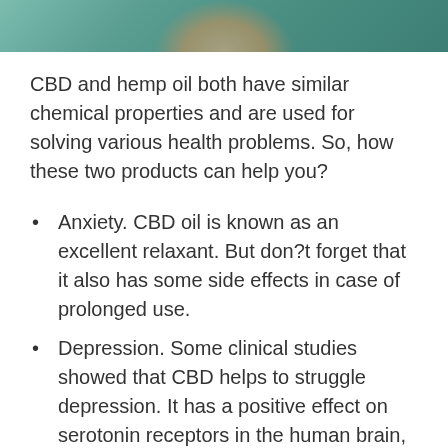[Figure (photo): Partial photo of a person wearing a teal/blue-green top, cropped at the top of the page]
CBD and hemp oil both have similar chemical properties and are used for solving various health problems. So, how these two products can help you?
Anxiety. CBD oil is known as an excellent relaxant. But don?t forget that it also has some side effects in case of prolonged use.
Depression. Some clinical studies showed that CBD helps to struggle depression. It has a positive effect on serotonin receptors in the human brain, improves emotional state and supports better psychological well-being.